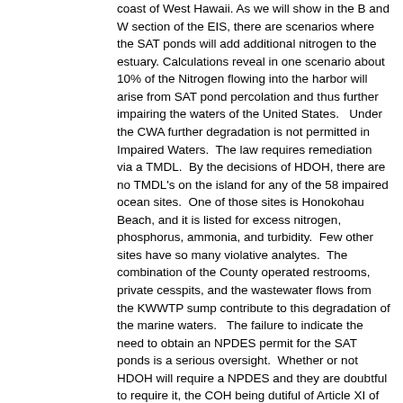coast of West Hawaii. As we will show in the B and W section of the EIS, there are scenarios where the SAT ponds will add additional nitrogen to the estuary. Calculations reveal in one scenario about 10% of the Nitrogen flowing into the harbor will arise from SAT pond percolation and thus further impairing the waters of the United States.   Under the CWA further degradation is not permitted in Impaired Waters.  The law requires remediation via a TMDL.  By the decisions of HDOH, there are no TMDL's on the island for any of the 58 impaired ocean sites.  One of those sites is Honokohau Beach, and it is listed for excess nitrogen, phosphorus, ammonia, and turbidity.  Few other sites have so many violative analytes.  The combination of the County operated restrooms, private cesspits, and the wastewater flows from the KWWTP sump contribute to this degradation of the marine waters.   The failure to indicate the need to obtain an NPDES permit for the SAT ponds is a serious oversight.  Whether or not HDOH will require a NPDES and they are doubtful to require it, the COH being dutiful of Article XI of the Constitution should obtain a NPDES permit.